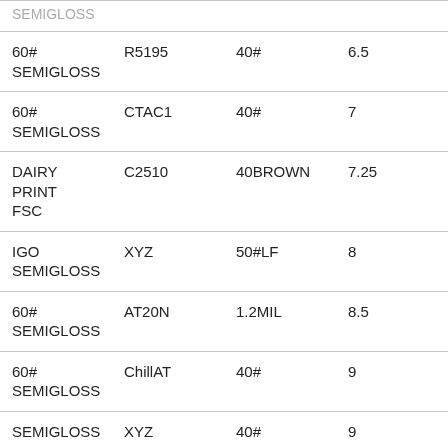| Product | Code | Grade | Price |
| --- | --- | --- | --- |
| 60# SEMIGLOSS | R5195 | 40# | 6.5 |
| 60# SEMIGLOSS | CTAC1 | 40# | 7 |
| DAIRY PRINT FSC | C2510 | 40BROWN | 7.25 |
| IGO SEMIGLOSS | XYZ | 50#LF | 8 |
| 60# SEMIGLOSS | AT20N | 1.2MIL | 8.5 |
| 60# SEMIGLOSS | ChillAT | 40# | 9 |
| SEMIGLOSS | XYZ | 40# | 9 |